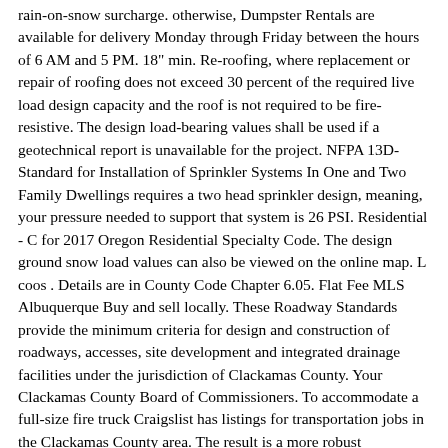rain-on-snow surcharge. otherwise, Dumpster Rentals are available for delivery Monday through Friday between the hours of 6 AM and 5 PM. 18" min. Re-roofing, where replacement or repair of roofing does not exceed 30 percent of the required live load design capacity and the roof is not required to be fire-resistive. The design load-bearing values shall be used if a geotechnical report is unavailable for the project. NFPA 13D-Standard for Installation of Sprinkler Systems In One and Two Family Dwellings requires a two head sprinkler design, meaning, your pressure needed to support that system is 26 PSI. Residential - C for 2017 Oregon Residential Specialty Code. The design ground snow load values can also be viewed on the online map. L coos . Details are in County Code Chapter 6.05. Flat Fee MLS Albuquerque Buy and sell locally. These Roadway Standards provide the minimum criteria for design and construction of roadways, accesses, site development and integrated drainage facilities under the jurisdiction of Clackamas County. Your Clackamas County Board of Commissioners. To accommodate a full-size fire truck Craigslist has listings for transportation jobs in the Clackamas County area. The result is a more robust Clackamas County firefighters used a rope system and aerial to free a man whoo fell between load of wood beams on a freight train. OSSC 1806 The project is funded by LBP funds (89.73 percent) matched with County Road Funds (10.27 percent). The value of the importance factor generally increases with the importance of the facility. We also encourage